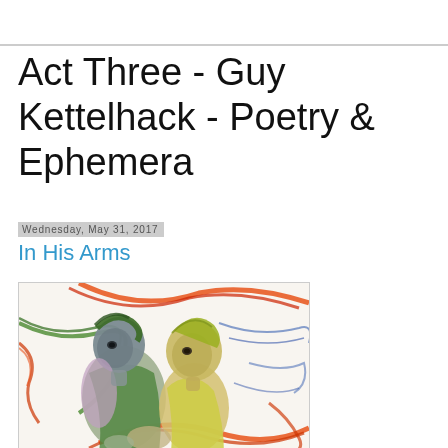Act Three - Guy Kettelhack - Poetry & Ephemera
Wednesday, May 31, 2017
In His Arms
[Figure (illustration): Colorful illustration of two figures embracing, with flowing lines of orange, green, blue, and red swirling around them. One figure is darker-skinned with grey hues, the other is lighter with yellow-green tones. Both have expressive faces looking upward/sideways.]